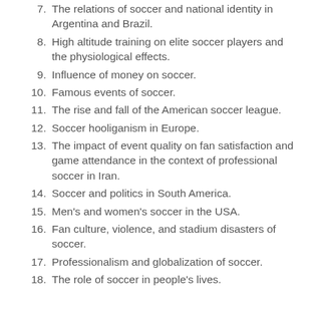7. The relations of soccer and national identity in Argentina and Brazil.
8. High altitude training on elite soccer players and the physiological effects.
9. Influence of money on soccer.
10. Famous events of soccer.
11. The rise and fall of the American soccer league.
12. Soccer hooliganism in Europe.
13. The impact of event quality on fan satisfaction and game attendance in the context of professional soccer in Iran.
14. Soccer and politics in South America.
15. Men's and women's soccer in the USA.
16. Fan culture, violence, and stadium disasters of soccer.
17. Professionalism and globalization of soccer.
18. The role of soccer in people's lives.